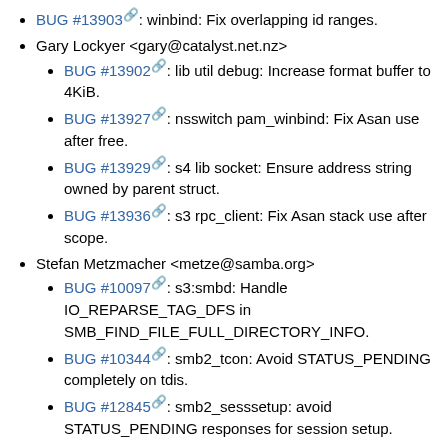BUG #13903: winbind: Fix overlapping id ranges.
Gary Lockyer <gary@catalyst.net.nz>
BUG #13902: lib util debug: Increase format buffer to 4KiB.
BUG #13927: nsswitch pam_winbind: Fix Asan use after free.
BUG #13929: s4 lib socket: Ensure address string owned by parent struct.
BUG #13936: s3 rpc_client: Fix Asan stack use after scope.
Stefan Metzmacher <metze@samba.org>
BUG #10097: s3:smbd: Handle IO_REPARSE_TAG_DFS in SMB_FIND_FILE_FULL_DIRECTORY_INFO.
BUG #10344: smb2_tcon: Avoid STATUS_PENDING completely on tdis.
BUG #12845: smb2_sesssetup: avoid STATUS_PENDING responses for session setup.